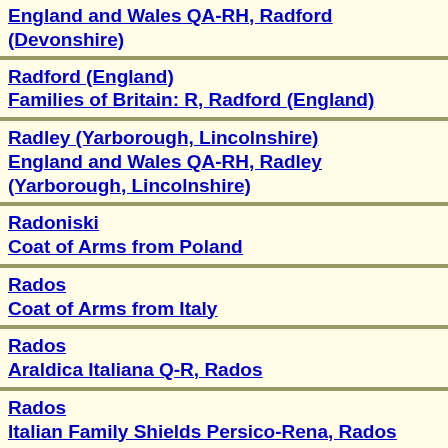England and Wales QA-RH, Radford (Devonshire)
Radford (England)
Families of Britain: R, Radford (England)
Radley (Yarborough, Lincolnshire)
England and Wales QA-RH, Radley (Yarborough, Lincolnshire)
Radoniski
Coat of Arms from Poland
Rados
Coat of Arms from Italy
Rados
Araldica Italiana Q-R, Rados
Rados
Italian Family Shields Persico-Rena, Rados
Radoszynski
Coat of Arms from Poland
Radwan
Coat of Arms Bookplate from Poland, Radwan